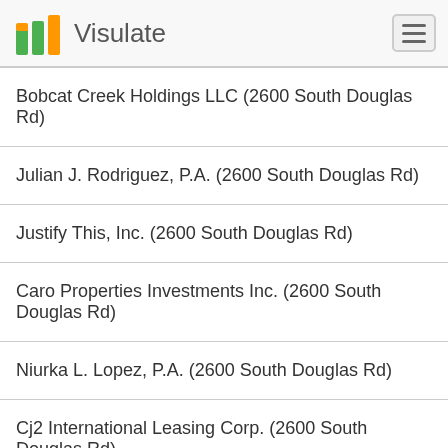Visulate
Bobcat Creek Holdings LLC (2600 South Douglas Rd)
Julian J. Rodriguez, P.A. (2600 South Douglas Rd)
Justify This, Inc. (2600 South Douglas Rd)
Caro Properties Investments Inc. (2600 South Douglas Rd)
Niurka L. Lopez, P.A. (2600 South Douglas Rd)
Cj2 International Leasing Corp. (2600 South Douglas Rd)
Finanzas Del Iregua Usa, Inc. (2600 South Douglas Rd)
Garraposa Usa, Inc. (2600 South Douglas Rd)
Iberian Icon Usa, Inc (2600 South Douglas Rd)
Infinity Coast, Inc (2600 South Douglas Rd)